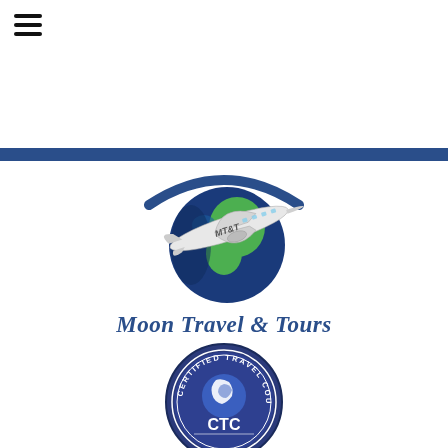[Figure (logo): Hamburger menu icon (three horizontal lines) in top left corner]
[Figure (logo): Horizontal blue bar separator across full width of page]
[Figure (logo): Moon Travel & Tours logo: globe with airplane, text 'Moon Travel & Tours' in blue italic serif font]
[Figure (logo): Certified Travel Counsellor (CTC) circular badge logo in dark blue]
[Figure (logo): PCI DSS logo in teal/green at bottom of page]